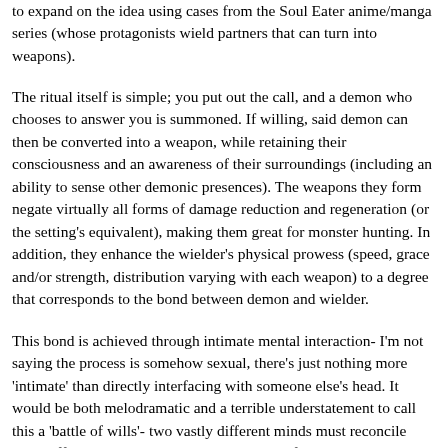to expand on the idea using cases from the Soul Eater anime/manga series (whose protagonists wield partners that can turn into weapons).
The ritual itself is simple; you put out the call, and a demon who chooses to answer you is summoned. If willing, said demon can then be converted into a weapon, while retaining their consciousness and an awareness of their surroundings (including an ability to sense other demonic presences). The weapons they form negate virtually all forms of damage reduction and regeneration (or the setting's equivalent), making them great for monster hunting. In addition, they enhance the wielder's physical prowess (speed, grace and/or strength, distribution varying with each weapon) to a degree that corresponds to the bond between demon and wielder.
This bond is achieved through intimate mental interaction- I'm not saying the process is somehow sexual, there's just nothing more 'intimate' than directly interfacing with someone else's head. It would be both melodramatic and a terrible understatement to call this a 'battle of wills'- two vastly different minds must reconcile their differences, with each picking apart the flaws that lurk in the blind spots of the